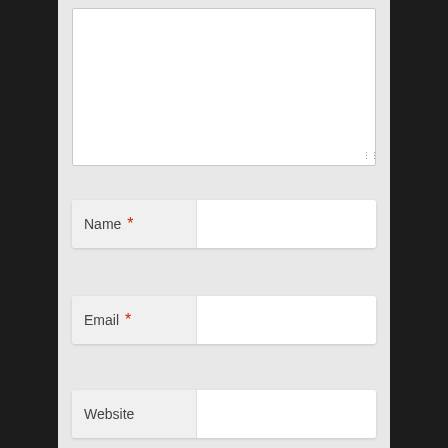[Figure (screenshot): Web form showing a textarea (empty, resizable) at the top, followed by three form fields: Name (required, marked with red asterisk), Email (required, marked with red asterisk), and Website, each with a label on the left and a white input box on the right. Background is dark textured on the sides and light gray in the center.]
Name *
Email *
Website